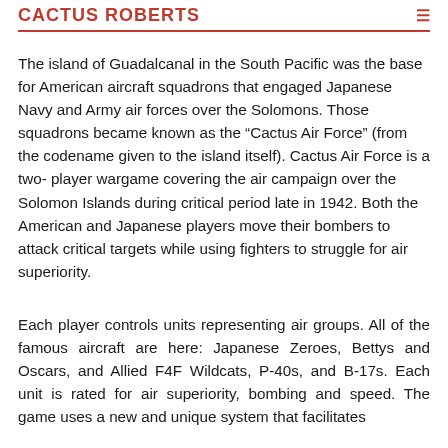CACTUS ROBERTS
The island of Guadalcanal in the South Pacific was the base for American aircraft squadrons that engaged Japanese Navy and Army air forces over the Solomons. Those squadrons became known as the “Cactus Air Force” (from the codename given to the island itself). Cactus Air Force is a two- player wargame covering the air campaign over the Solomon Islands during critical period late in 1942. Both the American and Japanese players move their bombers to attack critical targets while using fighters to struggle for air superiority.
Each player controls units representing air groups. All of the famous aircraft are here: Japanese Zeroes, Bettys and Oscars, and Allied F4F Wildcats, P-40s, and B-17s. Each unit is rated for air superiority, bombing and speed. The game uses a new and unique system that facilitates